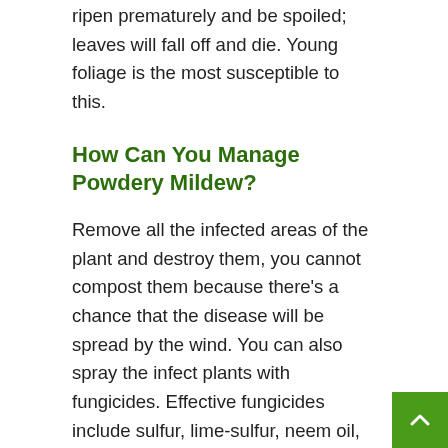ripen prematurely and be spoiled; leaves will fall off and die. Young foliage is the most susceptible to this.
How Can You Manage Powdery Mildew?
Remove all the infected areas of the plant and destroy them, you cannot compost them because there's a chance that the disease will be spread by the wind. You can also spray the infect plants with fungicides. Effective fungicides include sulfur, lime-sulfur, neem oil, and potassium bicarbonate.
How Can You Prevent Powdery Mildew?
Restrain yourself from watering plants from…